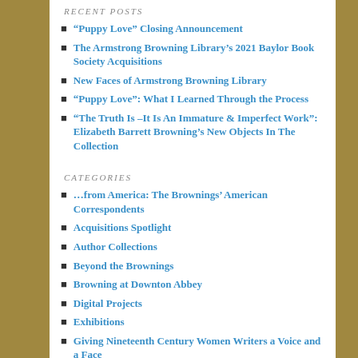RECENT POSTS
“Puppy Love” Closing Announcement
The Armstrong Browning Library’s 2021 Baylor Book Society Acquisitions
New Faces of Armstrong Browning Library
“Puppy Love”: What I Learned Through the Process
“The Truth Is –It Is An Immature & Imperfect Work”: Elizabeth Barrett Browning’s New Objects In The Collection
CATEGORIES
…from America: The Brownings’ American Correspondents
Acquisitions Spotlight
Author Collections
Beyond the Brownings
Browning at Downton Abbey
Digital Projects
Exhibitions
Giving Nineteenth Century Women Writers a Voice and a Face
Instruction Sessions